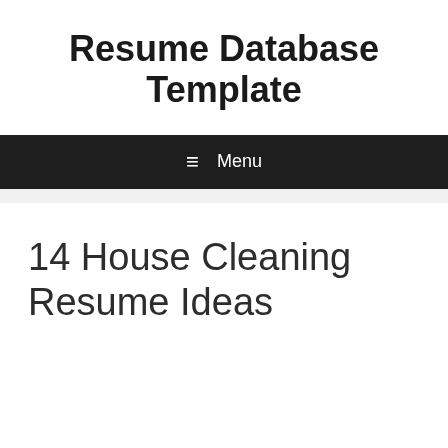Resume Database Template
≡ Menu
14 House Cleaning Resume Ideas